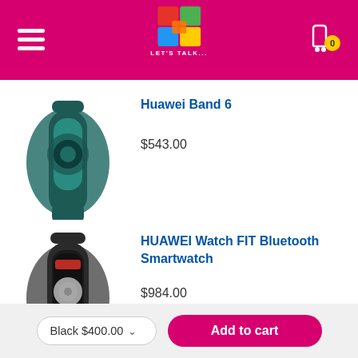LET'S TALK... (logo and navigation bar)
Huawei Band 6
$543.00
HUAWEI Watch FIT Bluetooth Smartwatch
$984.00
HUAWEI Watch GT 2 Pro Smart Watch
$2,205.00
Black $400.00  Add to cart